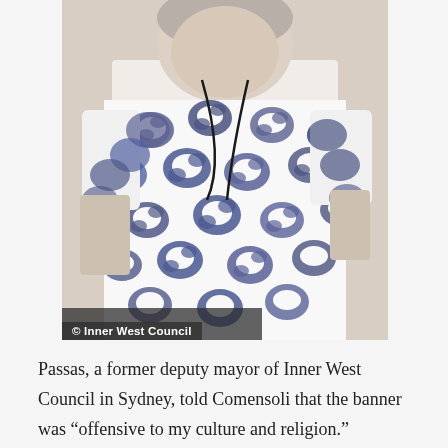[Figure (photo): A person wearing a white top with blue floral pattern, with a lanyard around their neck. A watermark caption reads '© Inner West Council' at the bottom left of the image.]
© Inner West Council
Passas, a former deputy mayor of Inner West Council in Sydney, told Comensoli that the banner was "offensive to my culture and religion."